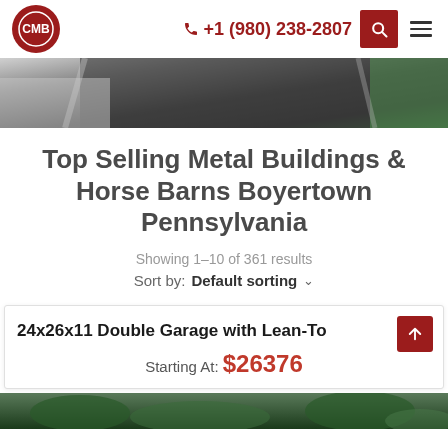CMB logo | +1 (980) 238-2807 | Search | Menu
[Figure (photo): Top-down aerial photo of a dark gravel driveway with stone edging and green shrubs]
Top Selling Metal Buildings & Horse Barns Boyertown Pennsylvania
Showing 1–10 of 361 results
Sort by: Default sorting
24x26x11 Double Garage with Lean-To
Starting At: $26376
[Figure (photo): Aerial photo of trees and landscape at the bottom of the page]